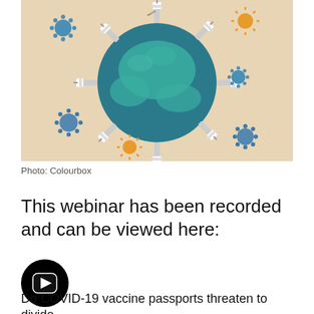[Figure (illustration): Illustration of a globe (Earth) with multiple vaccine syringes pointing inward from all directions, surrounded by coronavirus particles (blue and orange) on a beige/tan background. The syringes have labels on them.]
Photo: Colourbox
This webinar has been recorded and can be viewed here:
[Figure (other): YouTube play button icon — a black circle with a white right-pointing triangle inside.]
Do COVID-19 vaccine passports threaten to divide